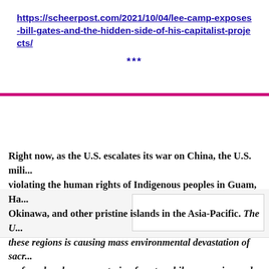https://scheerpost.com/2021/10/04/lee-camp-exposes-bill-gates-and-the-hidden-side-of-his-capitalist-projects/
***
[Figure (other): A content block region with a magenta/pink horizontal bar at the top and a white box in the right portion, likely a video or image embed placeholder.]
Right now, as the U.S. escalates its war on China, the U.S. mili... violating the human rights of Indigenous peoples in Guam, Ha... Okinawa, and other pristine islands in the Asia-Pacific. The U... these regions is causing mass environmental devastation of sacr... reefs and carbon-sequestering forests, while oppressing and har... Pacific Islanders through military exercises and accidents, milit... poisoning of drinking water. All of these issues can be traced ba... pentagon budget. It is more evident than ever that the military... industry cannot be trusted with billions of tax-payer dollars ea...